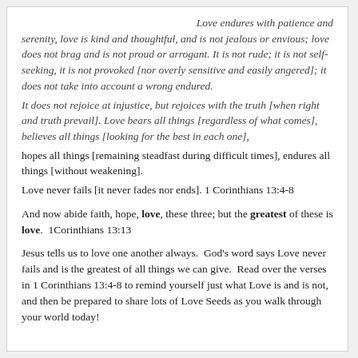Love endures with patience and serenity, love is kind and thoughtful, and is not jealous or envious; love does not brag and is not proud or arrogant. It is not rude; it is not self-seeking, it is not provoked [nor overly sensitive and easily angered]; it does not take into account a wrong endured. It does not rejoice at injustice, but rejoices with the truth [when right and truth prevail]. Love bears all things [regardless of what comes], believes all things [looking for the best in each one], hopes all things [remaining steadfast during difficult times], endures all things [without weakening]. Love never fails [it never fades nor ends]. 1 Corinthians 13:4-8
And now abide faith, hope, love, these three; but the greatest of these is love. 1Corinthians 13:13
Jesus tells us to love one another always. God's word says Love never fails and is the greatest of all things we can give. Read over the verses in 1 Corinthians 13:4-8 to remind yourself just what Love is and is not, and then be prepared to share lots of Love Seeds as you walk through your world today!